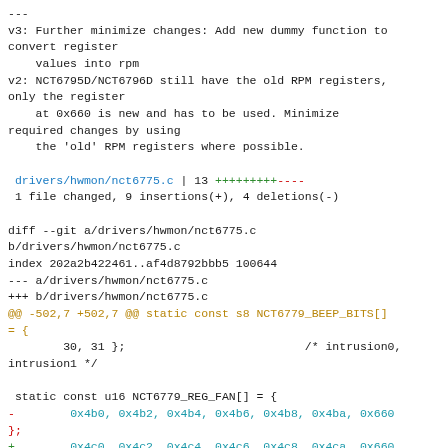---
v3: Further minimize changes: Add new dummy function to convert register
    values into rpm
v2: NCT6795D/NCT6796D still have the old RPM registers, only the register
    at 0x660 is new and has to be used. Minimize required changes by using
    the 'old' RPM registers where possible.

 drivers/hwmon/nct6775.c | 13 +++++++++----
 1 file changed, 9 insertions(+), 4 deletions(-)

diff --git a/drivers/hwmon/nct6775.c
b/drivers/hwmon/nct6775.c
index 202a2b422461..af4d8792bbb5 100644
--- a/drivers/hwmon/nct6775.c
+++ b/drivers/hwmon/nct6775.c
@@ -502,7 +502,7 @@ static const s8 NCT6779_BEEP_BITS[]
= {
        30, 31 };                             /* intrusion0, intrusion1 */

 static const u16 NCT6779_REG_FAN[] = {
-        0x4b0, 0x4b2, 0x4b4, 0x4b6, 0x4b8, 0x4ba, 0x660
};
+        0x4c0, 0x4c2, 0x4c4, 0x4c6, 0x4c8, 0x4ca, 0x660
};
 static const u16 NCT6779_REG_FAN_PULSES[NUM_FAN] = {
        0x644, 0x645, 0x646, 0x647, 0x648, 0x649 };